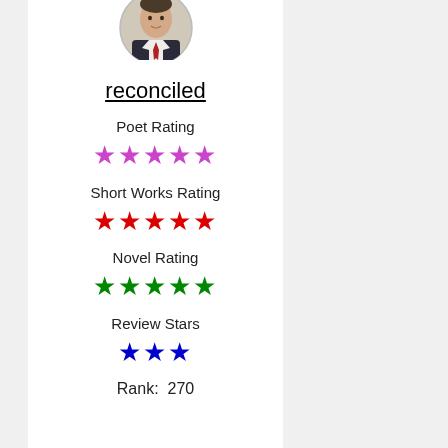[Figure (photo): Circular avatar photo of a person in a suit with a red tie]
reconciled
Poet Rating
[Figure (other): 5 purple stars rating]
Short Works Rating
[Figure (other): 5 red stars rating]
Novel Rating
[Figure (other): 5 green stars rating]
Review Stars
[Figure (other): 3 blue stars rating]
Rank:  270